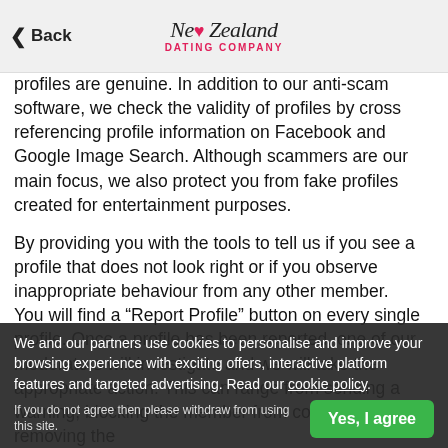Back | New Zealand Dating Company
profiles are genuine. In addition to our anti-scam software, we check the validity of profiles by cross referencing profile information on Facebook and Google Image Search. Although scammers are our main focus, we also protect you from fake profiles created for entertainment purposes.
By providing you with the tools to tell us if you see a profile that does not look right or if you observe inappropriate behaviour from any other member.
You will find a “Report Profile” button on every single profile. Once a profile has been reported, one of our moderators will investigate and we will take the appropriate action. This can range from sending a warning, blocking the member from contacting you or removing the
We and our partners use cookies to personalise and improve your browsing experience with exciting offers, interactive platform features and targeted advertising. Read our cookie policy.
If you do not agree then please withdraw from using this site.
Yes, I agree